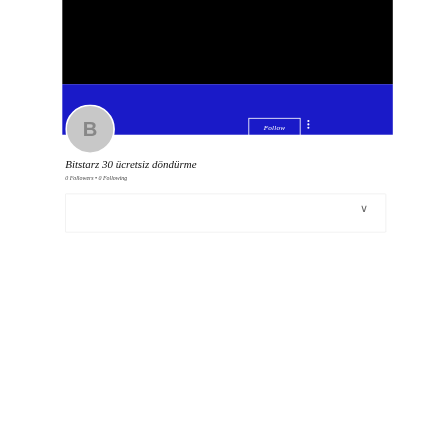[Figure (screenshot): Social media profile page screenshot showing a black banner at top, blue banner below, circular avatar with letter B, Follow button, three-dot menu, profile name 'Bitstarz 30 ücretsiz döndürme', follower count '0 Followers • 0 Following', and a partially visible card at the bottom with a chevron]
Bitstarz 30 ücretsiz döndürme
0 Followers • 0 Following